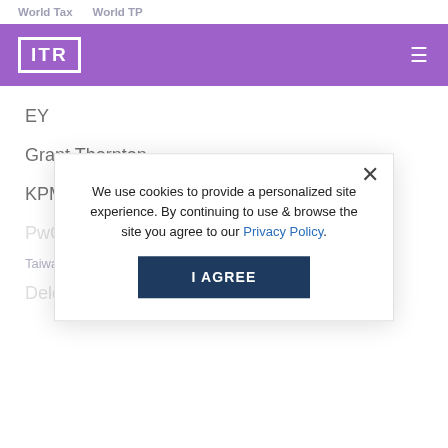World Tax   World TP
[Figure (logo): ITR logo in white on purple background with hamburger menu icon]
EY
Grant Thornton
KPMG
PwC [partially obscured]
We use cookies to provide a personalized site experience. By continuing to use & browse the site you agree to our Privacy Policy.
I AGREE
Taiwan Tax Disputes & ... of the Year
Deloitte